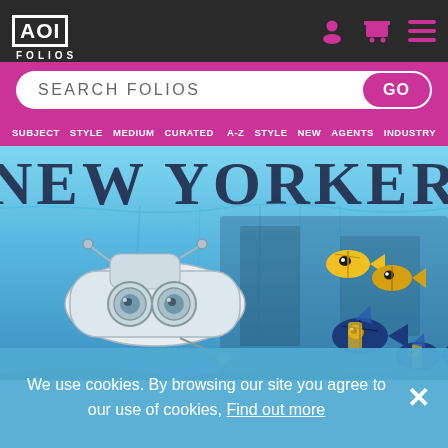AOI FOLIOS
SEARCH FOLIOS GO
SUBJECT STYLE MEDIUM CURATED A-Z STYLE NEW AGENTS INDUSTRY
[Figure (illustration): New Yorker magazine cover showing an underwater scene with a robot submarine and tropical fish in blue tones]
We use cookies. By browsing our site you agree to our use of cookies, Find out more